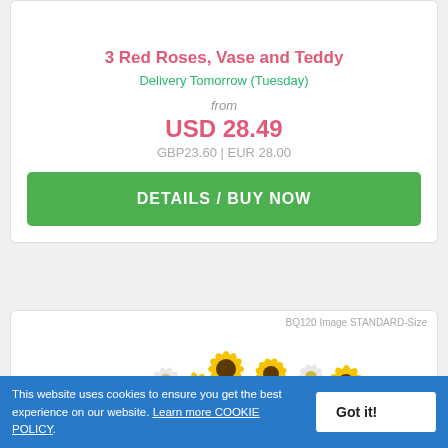3 Red Roses, Vase and Teddy
Delivery Tomorrow (Tuesday)
from
USD 28.49
GBP23.60 | EUR 28.00
DETAILS / BUY NOW
[Figure (photo): Bouquet of yellow and white daisy flowers]
BQ120 Image STANDARD-Size
This website uses cookies to ensure you get the best experience on our website. Learn more COOKIE POLICY.
Got it!